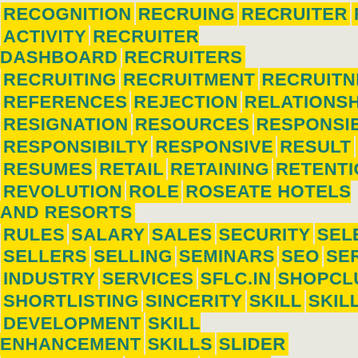[Figure (infographic): A tag cloud / word cloud displaying HR and business-related keywords in bold dark teal text on yellow highlighted backgrounds, arranged in multiple lines against a light gray background. Keywords include: RECOGNITION, RECRUING, RECRUITER, RECRUITER ACTIVITY, RECRUITER DASHBOARD, RECRUITERS, RECRUITING, RECRUITMENT, RECRUITNENT, REFERENCES, REJECTION, RELATIONSHIPS, RESEARCH, RESIGNATION, RESOURCES, RESPONSIBILITY, RESPONSIBILTY, RESPONSIVE, RESULT, RESUME, RESUMES, RETAIL, RETAINING, RETENTION, REVENUE, REVOLUTION, ROLE, ROSEATE HOTELS AND RESORTS, RULES, SALARY, SALES, SECURITY, SELECTION, SELLERS, SELLING, SEMINARS, SEO, SERVICE, SERVICE INDUSTRY, SERVICES, SFLC.IN, SHOPCLUES, SHORT, SHORTLISTING, SINCERITY, SKILL, SKILL DEVELOPMENT, SKILL ENHANCEMENT, SKILLS, SLIDER, SLIDESHARE, SOCIAL, SOCIAL CAUSE, SOCIALISE, SOCIALIZE, SOCIAL MEDIA, SOCIAL MEDIA MARKETING, SOCIAL MEDIA PRESENCE, SOCIAL NETWORKING, SOCIAL NORMS, SOCIETY, SOLUTIONS, SOURCING, SPECIAL SKILLS, STAND OUT, STARBUCKS, STARTEGY, START UP, STARTUPS, START UPS, STRATEGIC PLANNING, STRATEGIES, STRATEGY]